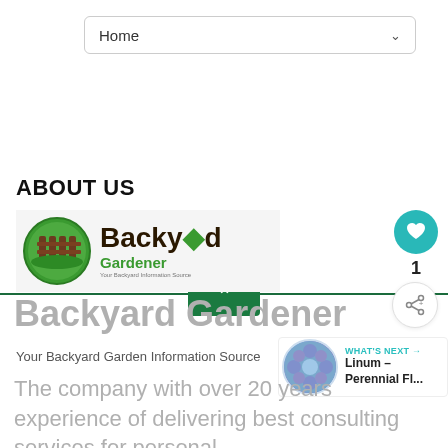[Figure (screenshot): Navigation bar with 'Home' label and dropdown chevron]
[Figure (other): Green up-arrow button centered on a dark green horizontal line, functioning as a back-to-top UI element]
ABOUT US
[Figure (logo): Backyard Gardener logo: green circle with fence icon on left, 'Backyard Gardener' text in dark brown and green on right, tagline 'Your Backyard Garden Information Source']
Backyard Gardener
Your Backyard Garden Information Source
[Figure (other): WHAT'S NEXT widget with image of blue flowers and text 'Linum – Perennial Fl...']
The company with over 20 years experience of delivering best consulting services for personal